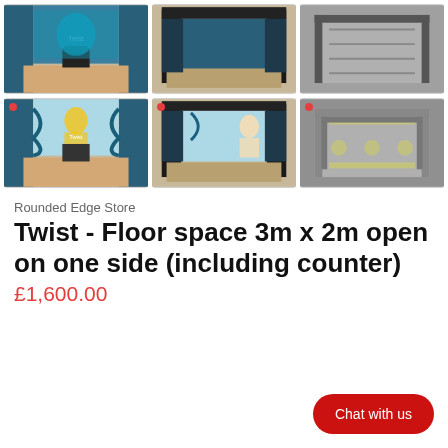[Figure (photo): Top row of three product images showing trade show / exhibition booth displays - a 3m x 2m Twist booth viewed from different angles including front perspective, side, and top-down views]
[Figure (photo): Bottom row of three product images (with red dot indicators) showing the same Twist exhibition booth from front perspective with branding, front-on view, and top-down floor plan view]
Rounded Edge Store
Twist - Floor space 3m x 2m open on one side (including counter)
£1,600.00
Chat with us